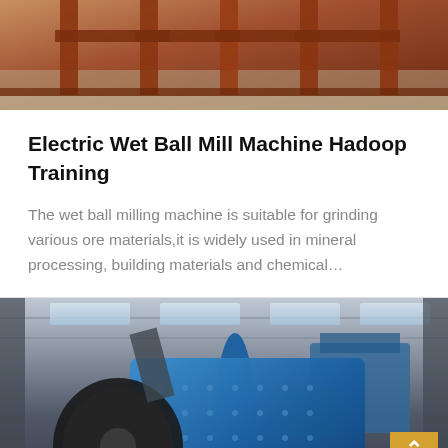[Figure (photo): Partial view of a red/orange industrial steel frame structure, bottom portion of an image]
Electric Wet Ball Mill Machine Hadoop Training
The wet ball milling machine is suitable for grinding various ore materials,it is widely used in mineral processing, building materials and chemical…
[Figure (photo): Interior of an industrial facility showing large blue ball mill machinery inside a warehouse building with high ceiling and skylights]
Leave Message   Chat Online